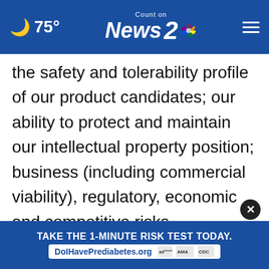75° Count on News 2
the safety and tolerability profile of our product candidates; our ability to protect and maintain our intellectual property position; business (including commercial viability), regulatory, economic and competitive risks, uncertainties, contingencies and assumptions about the Company; risks inherent in developing products and technologies; future results from our ongoing and planned clinical trials; our ability to obtain adequate financing, including through our fi... our ...
[Figure (infographic): Advertisement banner: TAKE THE 1-MINUTE RISK TEST TODAY. DolHavePrediabetes.org with ad council, AMA, and CDC logos. Close button overlay.]